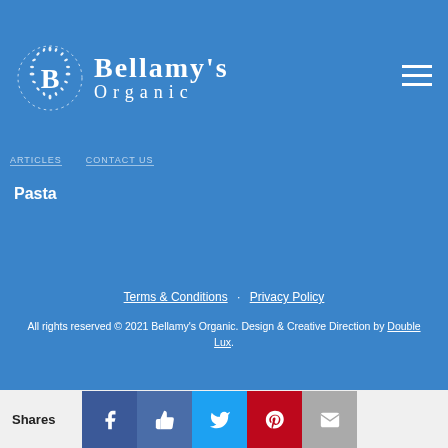Bellamy's Organic
Pasta
Terms & Conditions · Privacy Policy
All rights reserved © 2021 Bellamy's Organic. Design & Creative Direction by Double Lux.
Shares